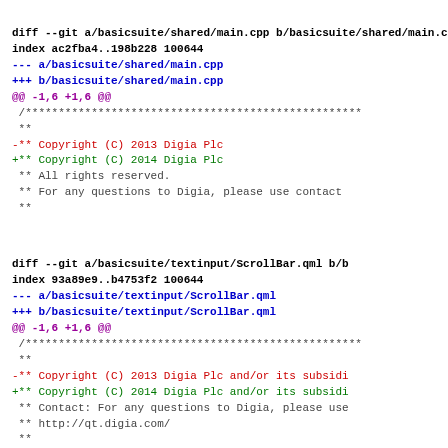diff --git a/basicsuite/shared/main.cpp b/basicsuite/shared/main.cpp
index ac2fba4..198b228 100644
--- a/basicsuite/shared/main.cpp
+++ b/basicsuite/shared/main.cpp
@@ -1,6 +1,6 @@
 /***********************************************
 **
-** Copyright (C) 2013 Digia Plc
+** Copyright (C) 2014 Digia Plc
 ** All rights reserved.
 ** For any questions to Digia, please use contact
 **
diff --git a/basicsuite/textinput/ScrollBar.qml b/basicsuite/textinput/ScrollBar.qml
index 93a89e9..b4753f2 100644
--- a/basicsuite/textinput/ScrollBar.qml
+++ b/basicsuite/textinput/ScrollBar.qml
@@ -1,6 +1,6 @@
 /***********************************************
 **
-** Copyright (C) 2013 Digia Plc and/or its subsidi
+** Copyright (C) 2014 Digia Plc and/or its subsidi
 ** Contact: For any questions to Digia, please use
 ** http://qt.digia.com/
 **
diff --git a/basicsuite/textinput/TextArea.qml b/basicsuite/textinput/TextArea.qml
index 430a3ad..490e066 100644
--- a/basicsuite/textinput/TextArea.qml